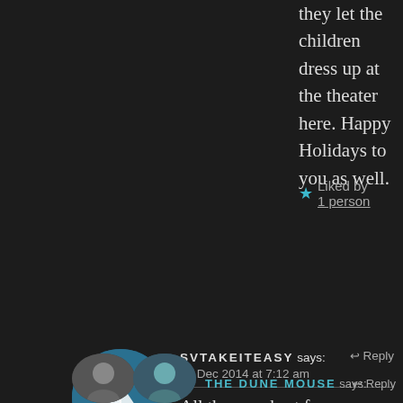they let the children dress up at the theater here. Happy Holidays to you as well.
★ Liked by 1 person
[Figure (photo): Circular avatar photo of a sailboat on blue water]
SVTAKEITEASY says: ↩ Reply
19 Dec 2014 at 7:12 am
All the very best for Christmas Cybele. Your images are beautiful as always. Look after yourself xx Chris
★ Like
[Figure (photo): Circular user avatar icons at bottom]
THE DUNE MOUSE says: ↩ Reply